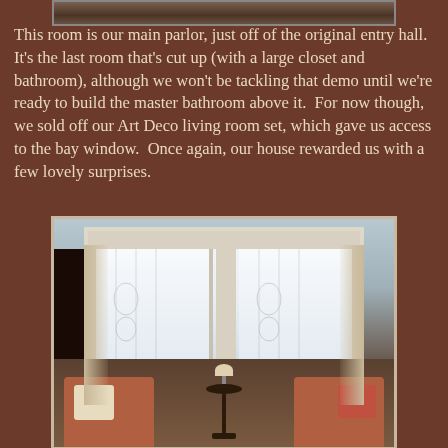[Figure (photo): Partial view of a room photo at the top of the page, cropped]
This room is our main parlor, just off of the original entry hall.  It's the last room that's cut up (with a large closet and bathroom), although we won't be tackling that demo until we're ready to build the master bathroom above it.  For now though, we sold off our Art Deco living room set, which gave us access to the bay window.  Once again, our house rewarded us with a few lovely surprises.
[Figure (photo): Interior photo of a parlor bay window with white curtains and decorative glass panels, with two armchairs, pillows, and a small round table with a lamp in front of the window]